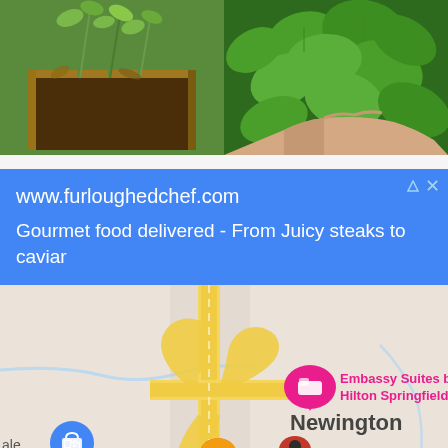[Figure (photo): Two photos side by side: left shows a wooden box planter with green plants (tomatoes/herbs) in a garden; right shows a hand holding fresh green basil leaves]
[Figure (screenshot): Blue advertisement banner for www.furloughedchef.com with text 'Gourmet food delivered - From Juicy steaks to caviar']
[Figure (map): Google Maps screenshot showing Newington area with Embassy Suites by Hilton Springfield marker, road 286, an orange restaurant marker for 'nan Bistro', a blue shopping marker, and a red location pin. Yellow roads showing highway interchange.]